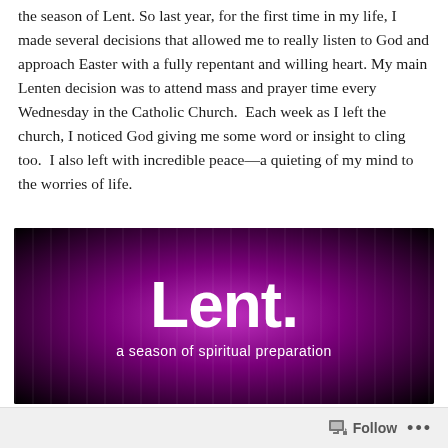the season of Lent. So last year, for the first time in my life, I made several decisions that allowed me to really listen to God and approach Easter with a fully repentant and willing heart. My main Lenten decision was to attend mass and prayer time every Wednesday in the Catholic Church. Each week as I left the church, I noticed God giving me some word or insight to cling too. I also left with incredible peace—a quieting of my mind to the worries of life.
[Figure (illustration): Dark purple glowing background with vertical light streaks. Large white bold text reads 'Lent.' with subtitle 'a season of spiritual preparation' beneath it.]
Follow ...